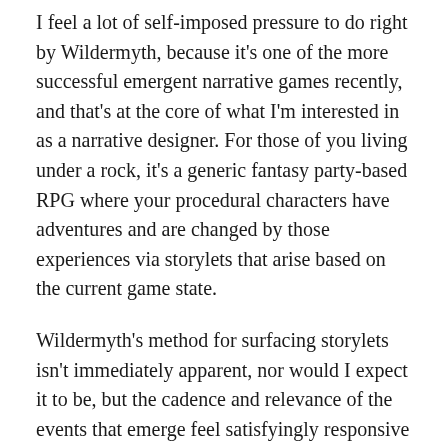I feel a lot of self-imposed pressure to do right by Wildermyth, because it's one of the more successful emergent narrative games recently, and that's at the core of what I'm interested in as a narrative designer. For those of you living under a rock, it's a generic fantasy party-based RPG where your procedural characters have adventures and are changed by those experiences via storylets that arise based on the current game state.
Wildermyth's method for surfacing storylets isn't immediately apparent, nor would I expect it to be, but the cadence and relevance of the events that emerge feel satisfyingly responsive to the game. Within a storylet, the player has several choices that have a further mechanical effect on the world state. For instance, if a hero is downed, do they retreat maimed, or fight on to their death, giving the party a boost from their